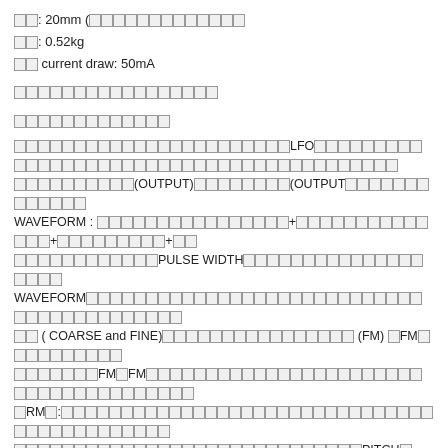奥行: 20mm (コントロールパネルからの突出)
重量: 0.52kg
最大 current draw: 50mA
製品に関するお問い合わせはこちら (red)
製品の概要説明 (red)
このモジュールはいくつかのLFOとオシレーターの機能を持つボルテージコントロールオシレーターです。4つのアウトプット(OUTPUT)があります。(OUTPUT）はすべてのウェーブフォームのミックスです。WAVEFORM : サイン波+トライアングル波+ノコギリ波+矩形波。矩形波はPULSE WIDTHつまみで波形を変化させることができます。WAVEFORMつまみで各波形のミックスバランスを変えることができます。ピッチ ( COARSE and  FINE)で音程を変えることができます。 (FM) 、FM入力（ジャック）もあります。つまみのFM、FMジャックの2つで周波数モジュレーションを行います。FM2はFM入力よりも細かくFMをかけることができます。　RM2：リングモジュレーション信号が出力されます。入力の信号と内部キャリアのリングモジュレーション信号です。つまみとジャックでPITCH：COURSE　(labeled in Hz ) and FINE (12 semitones)、FM : FM1、FM2、FM3のジャック。SYNC : OSC1、OSCジャックがあります。すべてのジャックはオーディオレートでも使用できます。
Hz ) and FINE (12 semitones)、FM : FM入力のFM1、FM2、FM3。SYNC : OSC1、OSC2のジャックがあります。すべてのジャックはオーディオレートでも使用できます。